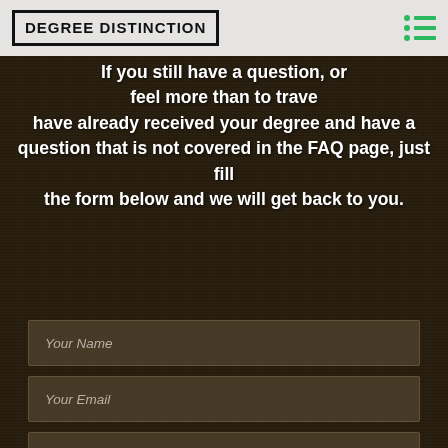DEGREE DISTINCTION
If you still have a question, or feel more than to travel have already received your degree and have a question that is not covered in the FAQ page, just fill the form below and we will get back to you.
Your Name
Your Email
Confirm Email